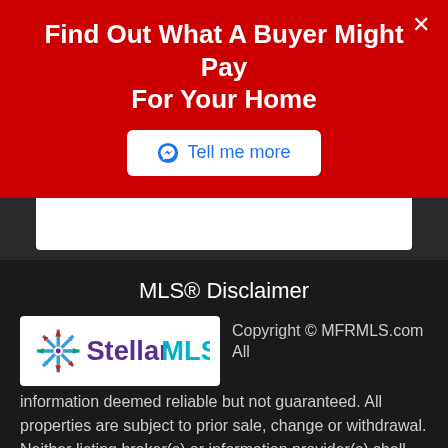Find Out What A Buyer Might Pay For Your Home
[Figure (screenshot): Tell me more button with Facebook Messenger icon]
MLS® Disclaimer
[Figure (logo): Stellar MLS logo with snowflake/star icon in blue and purple]
Copyright © MFRMLS.com All information deemed reliable but not guaranteed. All properties are subject to prior sale, change or withdrawal. Neither listing broker(s) or information provider(s) shall be responsible for any typographical errors, misinformation, misprints and shall be held totally harmless. Listing(s) information is provided for consumers personal, non-commercial use and may not be used for any purpose other than to identify prospective properties consumers